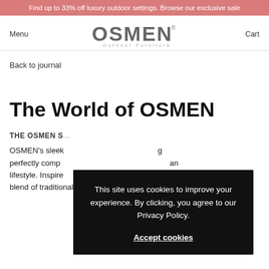Find up to 33% off luxury outdoor settings. Browse our exclusive sale
[Figure (logo): OSMEN Outdoor Furniture logo with stylized letters and registered trademark symbol]
Menu
Cart
Back to journal
The World of OSMEN
THE OSMEN S
OSMEN's sleek perfectly comp an lifestyle. Inspire seamless blend of traditional and contemporary transforms breathable
This site uses cookies to improve your experience. By clicking, you agree to our Privacy Policy.

Accept cookies